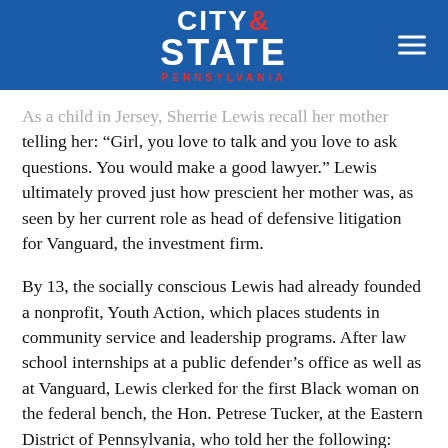CITY & STATE PENNSYLVANIA
telling her: “Girl, you love to talk and you love to ask questions. You would make a good lawyer.” Lewis ultimately proved just how prescient her mother was, as seen by her current role as head of defensive litigation for Vanguard, the investment firm.
By 13, the socially conscious Lewis had already founded a nonprofit, Youth Action, which places students in community service and leadership programs. After law school internships at a public defender’s office as well as at Vanguard, Lewis clerked for the first Black woman on the federal bench, the Hon. Petrese Tucker, at the Eastern District of Pennsylvania, who told her the following: “The best